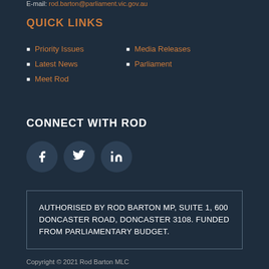E-mail: rod.barton@parliament.vic.gov.au
QUICK LINKS
Priority Issues
Media Releases
Latest News
Parliament
Meet Rod
CONNECT WITH ROD
[Figure (infographic): Three social media icons: Facebook, Twitter, LinkedIn]
AUTHORISED BY ROD BARTON MP, SUITE 1, 600 DONCASTER ROAD, DONCASTER 3108. FUNDED FROM PARLIAMENTARY BUDGET.
Copyright © 2021 Rod Barton MLC